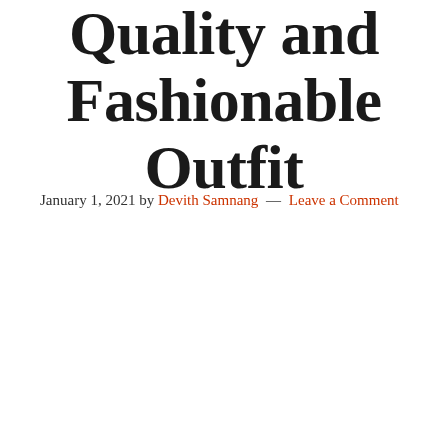Quality and Fashionable Outfit
January 1, 2021 by Devith Samnang — Leave a Comment